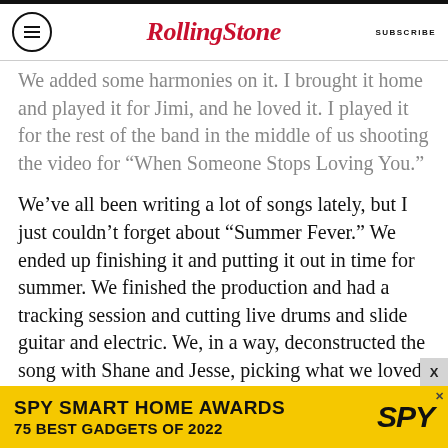RollingStone  SUBSCRIBE
We added some harmonies on it. I brought it home and played it for Jimi, and he loved it. I played it for the rest of the band in the middle of us shooting the video for “When Someone Stops Loving You.”
We’ve all been writing a lot of songs lately, but I just couldn’t forget about “Summer Fever.” We ended up finishing it and putting it out in time for summer. We finished the production and had a tracking session and cutting live drums and slide guitar and electric. We, in a way, deconstructed the song with Shane and Jesse, picking what we loved from that initial demo when we wrote it and kind of rebuilding it and making it our own.
[Figure (infographic): SPY Smart Home Awards advertisement banner: yellow background with text 'SPY SMART HOME AWARDS 75 BEST GADGETS OF 2022' and SPY logo]